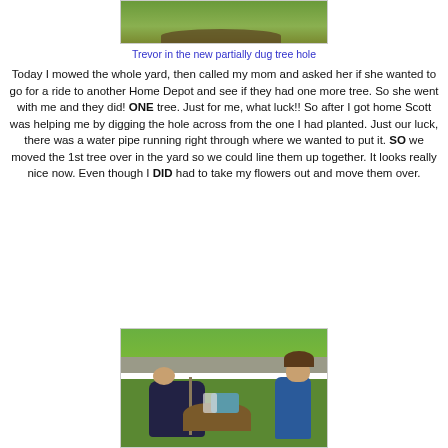[Figure (photo): Top portion of photo showing grass and a partially dug tree hole]
Trevor in the new partially dug tree hole
Today I mowed the whole yard, then called my mom and asked her if she wanted to go for a ride to another Home Depot and see if they had one more tree. So she went with me and they did! ONE tree. Just for me, what luck!! So after I got home Scott was helping me by digging the hole across from the one I had planted. Just our luck, there was a water pipe running right through where we wanted to put it. SO we moved the 1st tree over in the yard so we could line them up together. It looks really nice now. Even though I DID had to take my flowers out and move them over.
[Figure (photo): Two people (a man bent over and a girl) planting a tree in the yard, with dirt mound and blue bag visible]